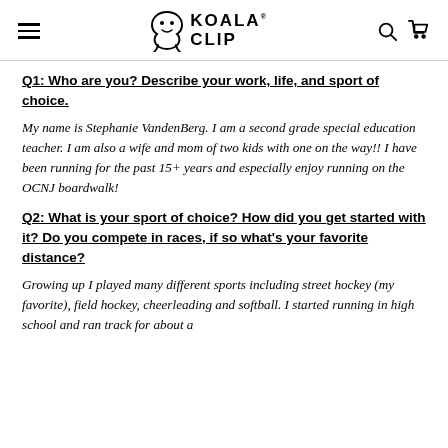KOALA CLIP
Q1: Who are you? Describe your work, life, and sport of choice.
My name is Stephanie VandenBerg. I am a second grade special education teacher. I am also a wife and mom of two kids with one on the way!! I have been running for the past 15+ years and especially enjoy running on the OCNJ boardwalk!
Q2: What is your sport of choice? How did you get started with it? Do you compete in races, if so what's your favorite distance?
Growing up I played many different sports including street hockey (my favorite), field hockey, cheerleading and softball. I started running in high school and ran track for about a